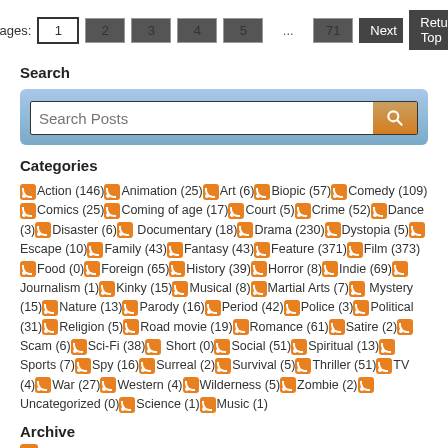Pages: 1 2 3 4 5 ... 71 Next Return Top
Search
[Figure (screenshot): Search box with placeholder text 'Search Posts' and a search button with magnifying glass icon, on a blue gradient background]
Categories
Action (146) Animation (25) Art (6) Biopic (57) Comedy (109) Comics (25) Coming of age (17) Court (5) Crime (52) Dance (3) Disaster (6) Documentary (18) Drama (230) Dystopia (5) Escape (10) Family (43) Fantasy (43) Feature (371) Film (373) Food (0) Foreign (65) History (39) Horror (8) Indie (69) Journalism (1) Kinky (15) Musical (8) Martial Arts (7) Mystery (15) Nature (13) Parody (16) Period (42) Police (3) Political (31) Religion (5) Road movie (19) Romance (61) Satire (2) Scam (6) Sci-Fi (38) Short (0) Social (51) Spiritual (13) Sports (7) Spy (16) Surreal (2) Survival (5) Thriller (51) TV (4) War (27) Western (4) Wilderness (5) Zombie (2) Uncategorized (0) Science (1) Music (1)
Archive